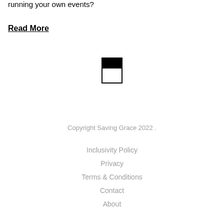running your own events?
Read More
[Figure (logo): Small black and white square logo icon, approximately half black on top and half white on bottom with a border]
Copyright Saving Grace 2022 .
Inclusivity Policy
Privacy
Terms & Conditions
Contact
About